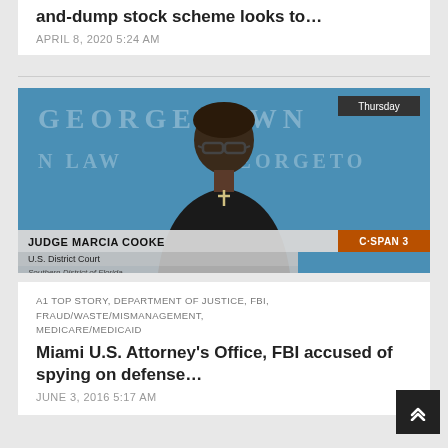and-dump stock scheme looks to…
APRIL 8, 2020 5:24 AM
[Figure (photo): Screenshot of C-SPAN 3 broadcast showing Judge Marcia Cooke, U.S. District Court, Southern District of Florida, at Georgetown Law background. Lower-third chyron reads: JUDGE MARCIA COOKE, U.S. District Court, Southern District of Florida. Thursday badge in top right.]
A1 TOP STORY, DEPARTMENT OF JUSTICE, FBI, FRAUD/WASTE/MISMANAGEMENT, MEDICARE/MEDICAID
Miami U.S. Attorney's Office, FBI accused of spying on defense…
JUNE 3, 2016 5:17 AM